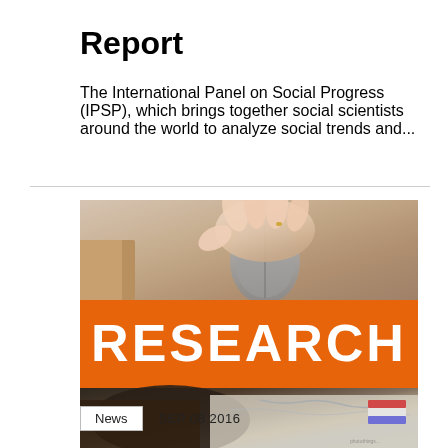Report
The International Panel on Social Progress (IPSP), which brings together social scientists around the world to analyze social trends and...
[Figure (photo): A composite image showing a hand on a computer mouse at the top, an orange banner with the word RESEARCH in white bold text in the middle, and a blurred desk scene with papers/maps at the bottom.]
News   SEP 08 2016